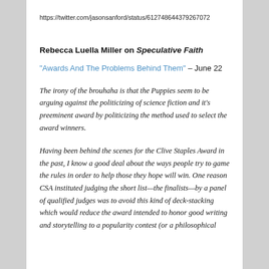https://twitter.com/jasonsanford/status/612748644379267072
Rebecca Luella Miller on Speculative Faith
“Awards And The Problems Behind Them” – June 22
The irony of the brouhaha is that the Puppies seem to be arguing against the politicizing of science fiction and it’s preeminent award by politicizing the method used to select the award winners.
Having been behind the scenes for the Clive Staples Award in the past, I know a good deal about the ways people try to game the rules in order to help those they hope will win. One reason CSA instituted judging the short list—the finalists—by a panel of qualified judges was to avoid this kind of deck-stacking which would reduce the award intended to honor good writing and storytelling to a popularity contest (or a philosophical